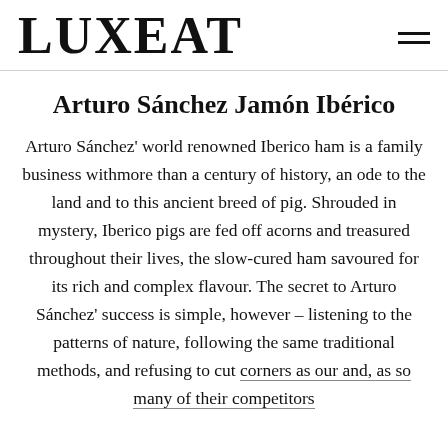LUXEAT
Arturo Sánchez Jamón Ibérico
Arturo Sánchez' world renowned Iberico ham is a family business withmore than a century of history, an ode to the land and to this ancient breed of pig. Shrouded in mystery, Iberico pigs are fed off acorns and treasured throughout their lives, the slow-cured ham savoured for its rich and complex flavour. The secret to Arturo Sánchez' success is simple, however – listening to the patterns of nature, following the same traditional methods, and refusing to cut corners as our and, as so many of their competitors